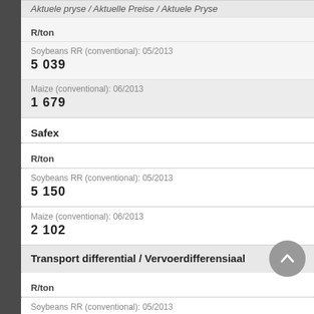Aktuele pryse / Aktuelle Preise / Aktuele Pryse
R/ton
Soybeans RR (conventional): 05/2013
5 039
Maize (conventional): 06/2013
1 679
Safex
R/ton
Soybeans RR (conventional): 05/2013
5 150
Maize (conventional): 06/2013
2 102
Transport differential / Vervoerdifferensiaal
R/ton
Soybeans RR (conventional): 05/2013